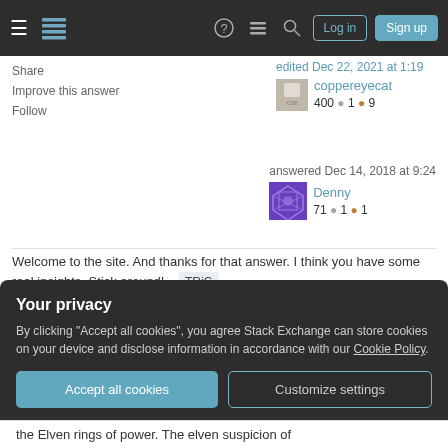Stack Exchange navigation bar with Log in and Sign up buttons
Share
Improve this answer
Follow
edited Dec 22, 2021 at 1:19
coppereyecat
400 ● 1 ● 9
answered Dec 14, 2018 at 9:24
Denny
71 ● 1 ● 1
Welcome to the site. And thanks for that answer. I think you have some real insights. Stick around! – TRiG
Dec 15, 2018 at 15:50
Your privacy
By clicking "Accept all cookies", you agree Stack Exchange can store cookies on your device and disclose information in accordance with our Cookie Policy.
Accept all cookies
Customize settings
the Elven rings of power. The elven suspicion of